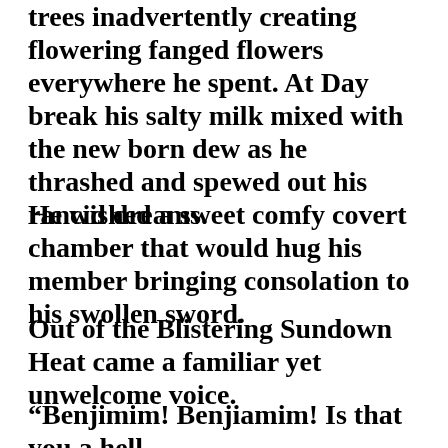trees inadvertently creating flowering fanged flowers everywhere he spent. At Day break his salty milk mixed with the new born dew as he thrashed and spewed out his rancid dreams.
He wished a sweet comfy covert chamber that would hug his member bringing consolation to his swollen sword.
Out of the Blistering Sundown Heat came a familiar yet unwelcome voice.
“Benjimim! Benjiamim! Is that you a hell…